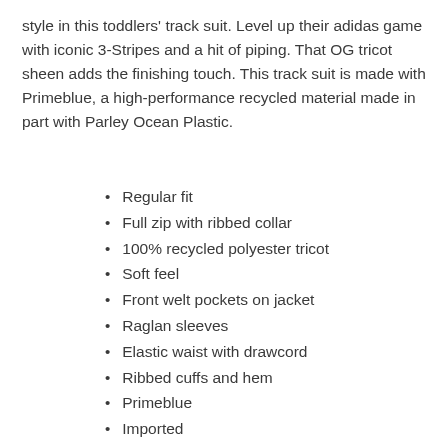style in this toddlers' track suit. Level up their adidas game with iconic 3-Stripes and a hit of piping. That OG tricot sheen adds the finishing touch. This track suit is made with Primeblue, a high-performance recycled material made in part with Parley Ocean Plastic.
Regular fit
Full zip with ribbed collar
100% recycled polyester tricot
Soft feel
Front welt pockets on jacket
Raglan sleeves
Elastic waist with drawcord
Ribbed cuffs and hem
Primeblue
Imported
Product color: Black / White
Product code: GN8441